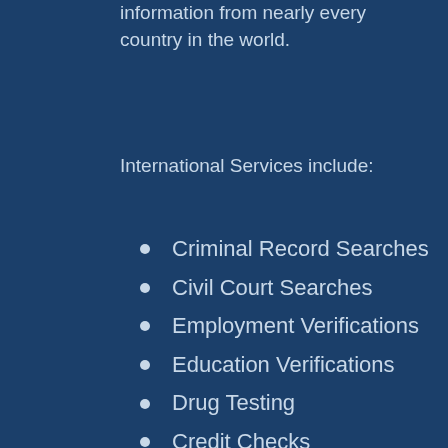information from nearly every country in the world.
International Services include:
Criminal Record Searches
Civil Court Searches
Employment Verifications
Education Verifications
Drug Testing
Credit Checks
Motor Vehicle Reports